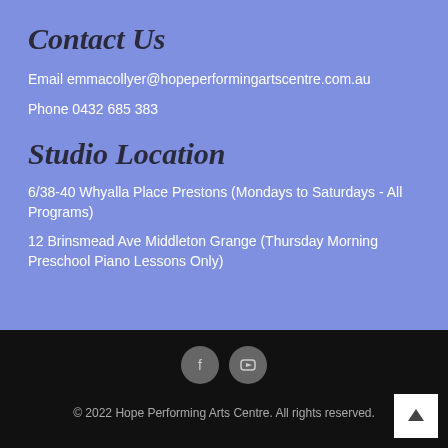Contact Us
Email emmacollyer@hopeperformingartscentre.com.au
Phone 0432 685 383
Studio Location
6/38-40 Whyalla Place Prestons (Mondays to Saturdays - All Programs)
12 Brinsmead Ave Middleton Grange (Thursday Morning Preschool Piano Lessons Only)
© 2022 Hope Performing Arts Centre. All rights reserved.